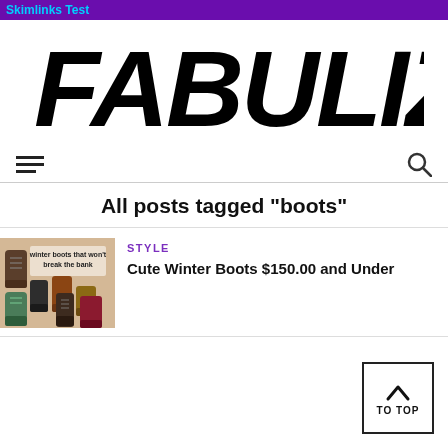Skimlinks Test
FABULIZE
[Figure (other): Hamburger menu icon (three horizontal lines) on left, search magnifying glass icon on right — navigation bar]
All posts tagged "boots"
[Figure (photo): Collage of various winter boots with text overlay reading 'winter boots that won't break the bank']
STYLE
Cute Winter Boots $150.00 and Under
[Figure (other): Back to top button with upward chevron arrow and text 'TO TOP']